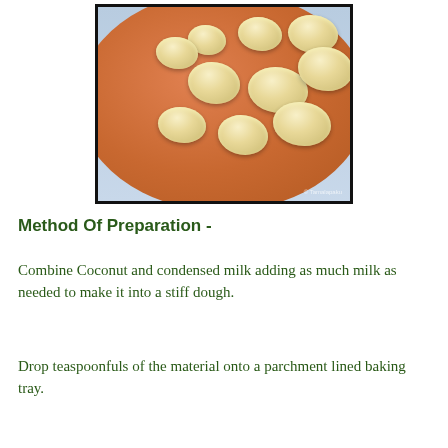[Figure (photo): Photo of coconut macaroon cookies on an orange/terracotta plate, with a light blue background. Watermark reads '© Tamalapaku'.]
Method Of Preparation -
Combine Coconut and condensed milk adding as much milk as needed to make it into a stiff dough.
Drop teaspoonfuls of the material onto a parchment lined baking tray.